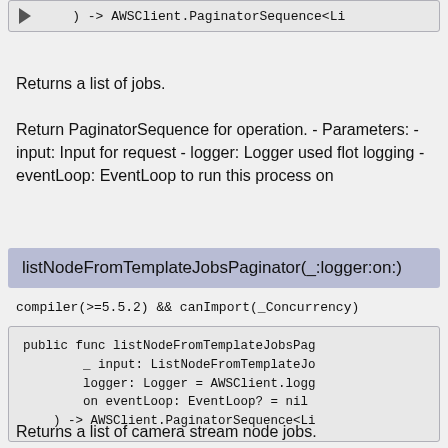[Figure (screenshot): Code block showing: ) -> AWSClient.PaginatorSequence<Li with a triangle/expand arrow on the left]
Returns a list of jobs.
Return PaginatorSequence for operation. - Parameters: - input: Input for request - logger: Logger used flot logging - eventLoop: EventLoop to run this process on
listNodeFromTemplateJobsPaginator(_:logger:on:)
compiler(>=5.5.2) && canImport(_Concurrency)
[Figure (screenshot): Code block showing: public func listNodeFromTemplateJobsPag _ input: ListNodeFromTemplateJo logger: Logger = AWSClient.logg on eventLoop: EventLoop? = nil ) -> AWSClient.PaginatorSequence<Li]
Returns a list of camera stream node jobs.